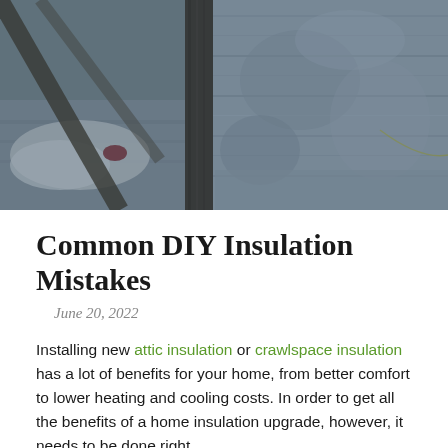[Figure (photo): Construction/insulation photo showing wooden beams, a concrete or stone wall with rough texture, insulation materials, and building materials on a floor, with a blue-tinted overlay.]
Common DIY Insulation Mistakes
June 20, 2022
Installing new attic insulation or crawlspace insulation has a lot of benefits for your home, from better comfort to lower heating and cooling costs. In order to get all the benefits of a home insulation upgrade, however, it needs to be done right.